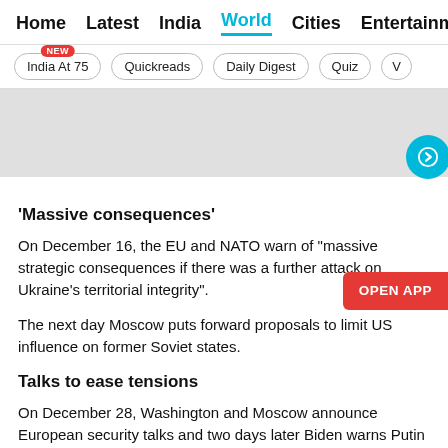Home  Latest  India  World  Cities  Entertainment
India At 75 (NEW)  Quickreads  Daily Digest  Quiz
[Figure (photo): Gray placeholder image area with a teal circular arrow button on the bottom right]
'Massive consequences'
On December 16, the EU and NATO warn of "massive strategic consequences if there was a further attack on Ukraine's territorial integrity".
The next day Moscow puts forward proposals to limit US influence on former Soviet states.
Talks to ease tensions
On December 28, Washington and Moscow announce European security talks and two days later Biden warns Putin